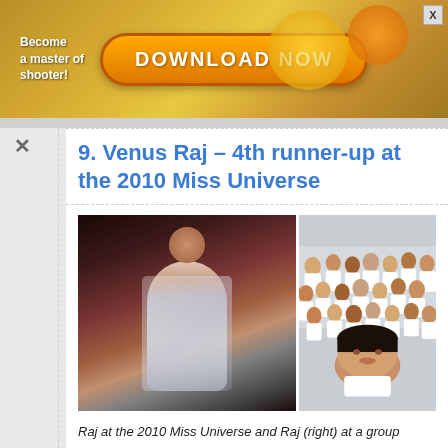[Figure (photo): Advertisement banner with golden background showing 'Become a master of shooter!' text on left and an orange 'DOWNLOAD NOW' button, with game graphics]
9. Venus Raj – 4th runner-up at the 2010 Miss Universe
[Figure (photo): Two photos side by side: left shows Venus Raj in a silver gown at the 2010 Miss Universe pageant; right shows Venus Raj taking a selfie with a large group of students in white uniforms at a group prayer event in 2018]
Raj at the 2010 Miss Universe and Raj (right) at a group prayer event in 2018
Image adapted from: @onlyvenusraj, @onlyvenusraj